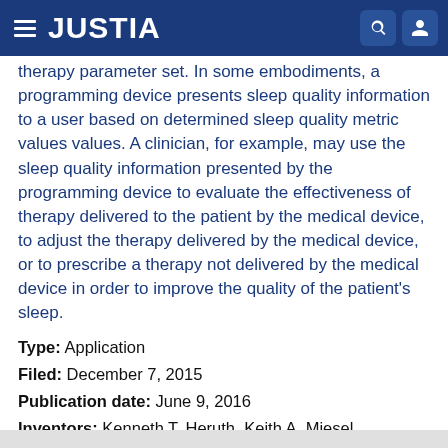JUSTIA
therapy parameter set. In some embodiments, a programming device presents sleep quality information to a user based on determined sleep quality metric values values. A clinician, for example, may use the sleep quality information presented by the programming device to evaluate the effectiveness of therapy delivered to the patient by the medical device, to adjust the therapy delivered by the medical device, or to prescribe a therapy not delivered by the medical device in order to improve the quality of the patient's sleep.
Type: Application
Filed: December 7, 2015
Publication date: June 9, 2016
Inventors: Kenneth T. Heruth, Keith A. Miesel